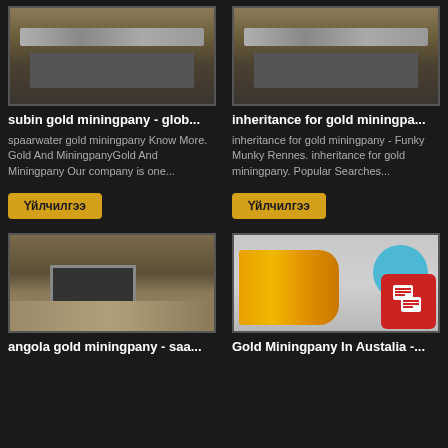[Figure (photo): Mining conveyor belt and industrial equipment at a mining site - left top]
subin gold miningpany - glob...
spaarwater gold miningpany Know More. Gold And MiningpanyGold And Miningpany Our company is one...
Үйлчилгээ
[Figure (photo): Mining conveyor belt and industrial equipment at a mining site - right top]
inheritance for gold miningpa...
inheritance for gold miningpany - Funky Munky Rennes. inheritance for gold miningpany. Popular Searches...
Үйлчилгээ
[Figure (photo): Underground mining tunnel with machinery and rocky terrain]
angola gold miningpany - saa...
[Figure (photo): Yellow industrial crusher/impact machine with blue circle and red chat icon overlay]
Gold Miningpany In Austalia -...